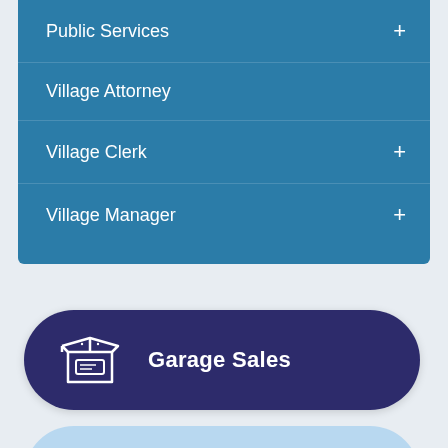Public Services +
Village Attorney
Village Clerk +
Village Manager +
[Figure (illustration): Dark navy rounded rectangle button with a box/package icon on the left and 'Garage Sales' text in white bold font]
[Figure (illustration): Light blue rounded rectangle button partially visible at bottom of page]